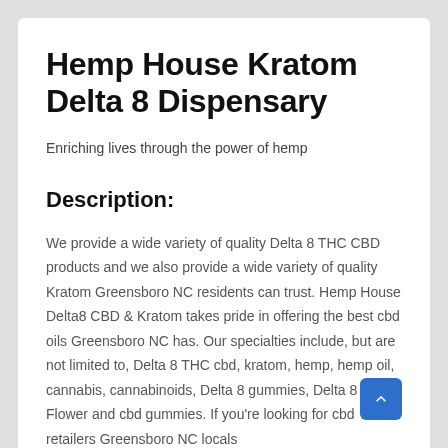Hemp House Kratom Delta 8 Dispensary
Enriching lives through the power of hemp
Description:
We provide a wide variety of quality Delta 8 THC CBD products and we also provide a wide variety of quality Kratom Greensboro NC residents can trust. Hemp House Delta8 CBD & Kratom takes pride in offering the best cbd oils Greensboro NC has. Our specialties include, but are not limited to, Delta 8 THC cbd, kratom, hemp, hemp oil, cannabis, cannabinoids, Delta 8 gummies, Delta 8 THC Flower and cbd gummies. If you're looking for cbd retailers Greensboro NC locals